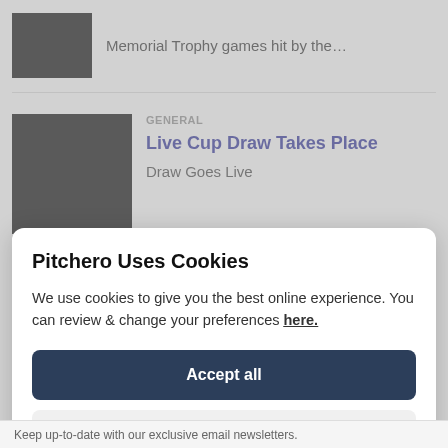Memorial Trophy games hit by the…
GENERAL
Live Cup Draw Takes Place
Draw Goes Live
Pitchero Uses Cookies
We use cookies to give you the best online experience. You can review & change your preferences here.
Accept all
Reject all
Keep up-to-date with our exclusive email newsletters.